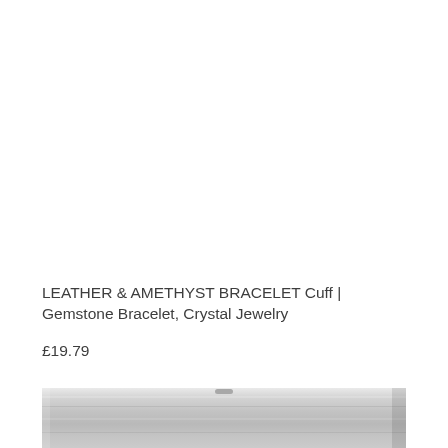LEATHER & AMETHYST BRACELET Cuff | Gemstone Bracelet, Crystal Jewelry
£19.79
[Figure (photo): Partial product photo showing what appears to be a leather bracelet or cuff, shown in grayscale/light gray tones at the bottom of the page.]